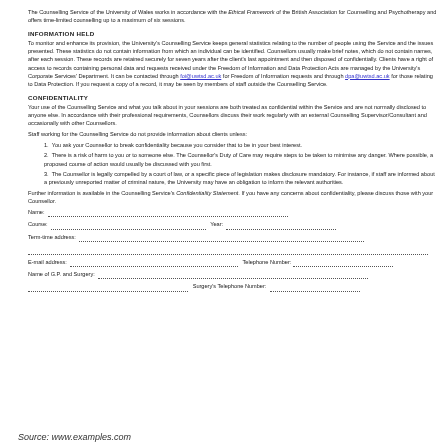The Counselling Service of the University of Wales works in accordance with the Ethical Framework of the British Association for Counselling and Psychotherapy and offers time-limited counselling up to a maximum of six sessions.
INFORMATION HELD
To monitor and enhance its provision, the University's Counselling Service keeps general statistics relating to the number of people using the Service and the issues presented. These statistics do not contain information from which an individual can be identified. Counsellors usually make brief notes, which do not contain names, after each session. These records are retained securely for seven years after the client's last appointment and then disposed of confidentially. Clients have a right of access to records containing personal data and requests received under the Freedom of Information and Data Protection Acts are managed by the University's Corporate Services' Department. It can be contacted through foi@uwtsd.ac.uk for Freedom of Information requests and through dpa@uwtsd.ac.uk for those relating to Data Protection. If you request a copy of a record, it may be seen by members of staff outside the Counselling Service.
CONFIDENTIALITY
Your use of the Counselling Service and what you talk about in your sessions are both treated as confidential within the Service and are not normally disclosed to anyone else. In accordance with their professional requirements, Counsellors discuss their work regularly with an external Counselling Supervisor/Consultant and occasionally with other Counsellors.
Staff working for the Counselling Service do not provide information about clients unless:
1. You ask your Counsellor to break confidentiality because you consider that to be in your best interest.
2. There is a risk of harm to you or to someone else. The Counsellor's Duty of Care may require steps to be taken to minimise any danger. Where possible, a proposed course of action would usually be discussed with you first.
3. The Counsellor is legally compelled by a court of law, or a specific piece of legislation makes disclosure mandatory. For instance, if staff are informed about a previously unreported matter of criminal nature, the University may have an obligation to inform the relevant authorities.
Further information is available in the Counselling Service's Confidentiality Statement. If you have any concerns about confidentiality, please discuss those with your Counsellor.
Name: ………………………………………………………………………
Course: ……………………………………………………………   Year: ………………………………………………
Term-time address: ………………………………………………………………………………………………………………………
………………………………………………………………………………………………………………………………………………
E-mail address: ……………………………………………………………………   Telephone Number: ………………………………
Name of G.P. and Surgery: ……………………………………………………………………………………………………………
……………………………………………………………   Surgery's Telephone Number: ……………………………
Source: www.examples.com